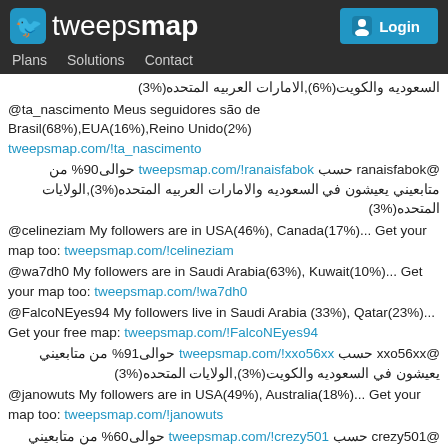tweepsmap | Plans | Solutions | Contact | Login
السعوديه والكويت(%6),الامارات العربيه المتحده(%3)
@ta_nascimento Meus seguidores são de Brasil(68%),EUA(16%),Reino Unido(2%) tweepsmap.com/!ta_nascimento
@ranaisfabok حسب tweepsmap.com/!ranaisfabok حوالى90% من متابعيني يعيشون في السعوديه والامارات العربيه المتحده(%3),الولايات المتحده(%3)
@celineziam My followers are in USA(46%), Canada(17%)... Get your map too: tweepsmap.com/!celineziam
@wa7dh0 My followers are in Saudi Arabia(63%), Kuwait(10%)... Get your map too: tweepsmap.com/!wa7dh0
@FalcoNEyes94 My followers live in Saudi Arabia (33%), Qatar(23%)... Get your free map: tweepsmap.com/!FalcoNEyes94
@xxo56xx حسب tweepsmap.com/!xxo56xx حوالى91% من متابعيني يعيشون في السعوديه والكويت(%3),الولايات المتحده(%3)
@janowuts My followers are in USA(49%), Australia(18%)... Get your map too: tweepsmap.com/!janowuts
@crezy501 حسب tweepsmap.com/!crezy501 حوالى60% من متابعيني يعيشون في السعوديه والكويت(%15),الامارات العربيه المتحده(%5)
@mnooor2221 My followers are in Saudi Arabia(60%), Kuwait(15%)... Get your map too: tweepsmap.com/!mnooor2221
@ZainMisa حسب tweepsmap.com/!ZainMisa حوالى53% من متابعيني يعيشون في السعوديه والكويت(%11),عمان(%8)
حوال 85% من @BadoOory333 حسب tweepsmap.com/!BadoOory333